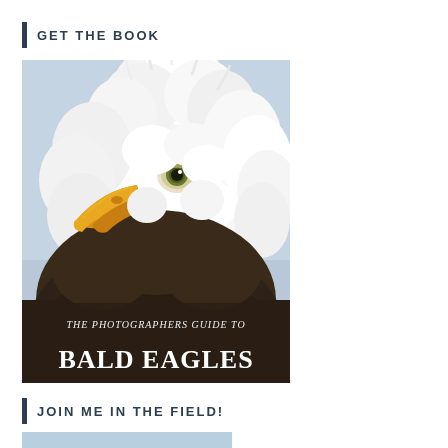GET THE BOOK
[Figure (photo): Book cover for 'The Photographers Guide to Bald Eagles' featuring a close-up photo of a bald eagle's head and upper body against a light blue sky. The eagle has white feathers on its head, a yellow-orange beak, and dark brown body feathers. Text at the bottom reads 'THE PHOTOGRAPHERS GUIDE TO BALD EAGLES'.]
JOIN ME IN THE FIELD!
[Figure (photo): Partial preview of a light blue image, cropped at the bottom of the page.]